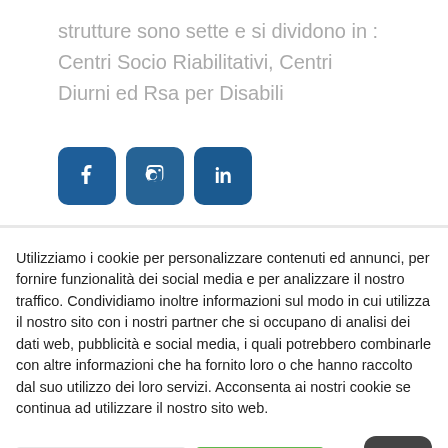strutture sono sette e si dividono in : Centri Socio Riabilitativi, Centri Diurni ed Rsa per Disabili
[Figure (other): Three social media icon buttons: Facebook (f), Instagram (camera), LinkedIn (in), all in dark blue rounded square buttons]
Utilizziamo i cookie per personalizzare contenuti ed annunci, per fornire funzionalità dei social media e per analizzare il nostro traffico. Condividiamo inoltre informazioni sul modo in cui utilizza il nostro sito con i nostri partner che si occupano di analisi dei dati web, pubblicità e social media, i quali potrebbero combinarle con altre informazioni che ha fornito loro o che hanno raccolto dal suo utilizzo dei loro servizi. Acconsenta ai nostri cookie se continua ad utilizzare il nostro sito web.
Cookie impostazioni | Accetta tutto